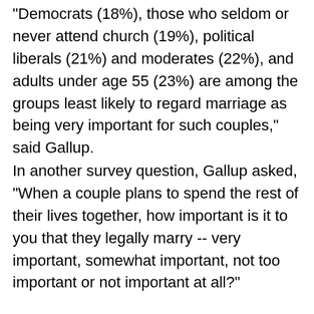"Democrats (18%), those who seldom or never attend church (19%), political liberals (21%) and moderates (22%), and adults under age 55 (23%) are among the groups least likely to regard marriage as being very important for such couples," said Gallup.
In another survey question, Gallup asked, "When a couple plans to spend the rest of their lives together, how important is it to you that they legally marry -- very important, somewhat important, not too important or not important at all?"